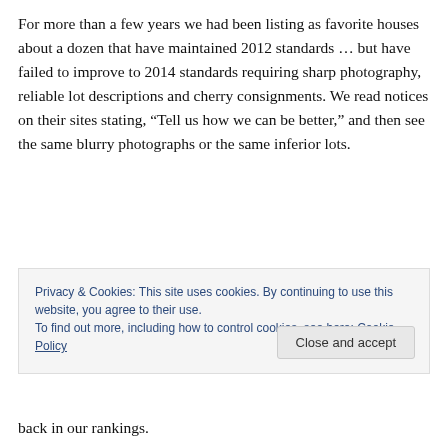For more than a few years we had been listing as favorite houses about a dozen that have maintained 2012 standards … but have failed to improve to 2014 standards requiring sharp photography, reliable lot descriptions and cherry consignments. We read notices on their sites stating, “Tell us how we can be better,” and then see the same blurry photographs or the same inferior lots.
Privacy & Cookies: This site uses cookies. By continuing to use this website, you agree to their use.
To find out more, including how to control cookies, see here: Cookie Policy
back in our rankings.